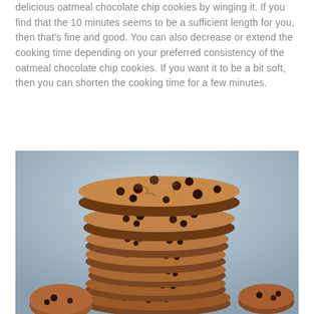delicious oatmeal chocolate chip cookies by winging it. If you find that the 10 minutes seems to be a sufficient length for you, then that's fine and good. You can also decrease or extend the cooking time depending on your preferred consistency of the oatmeal chocolate chip cookies. If you want it to be a bit soft, then you can shorten the cooking time for a few minutes.
[Figure (photo): A stack of oatmeal chocolate chip cookies piled high on a light blue/grey background, showing multiple cookies stacked on top of each other with visible chocolate chips.]